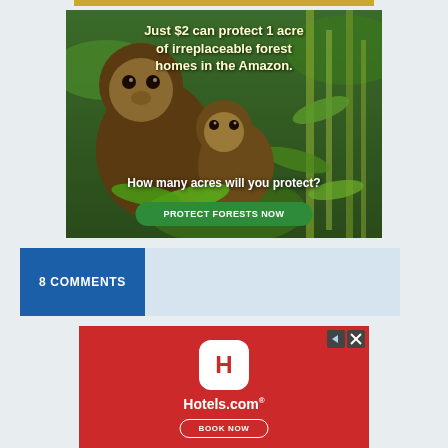[Figure (illustration): Wildlife conservation advertisement showing two brown capuchin monkeys in Amazon rainforest greenery. Text overlay reads: 'Just $2 can protect 1 acre of irreplaceable forest homes in the Amazon.' Bottom text: 'How many acres will you protect?' with a green button 'PROTECT FORESTS NOW']
8 COMMENTS
[Figure (illustration): Hotels.com advertisement on red background. Features the Hotels.com app icon (white rounded square with red 'H' letter), Hotels.com wordmark in white, and a 'BOOK NOW' button with white outline border.]